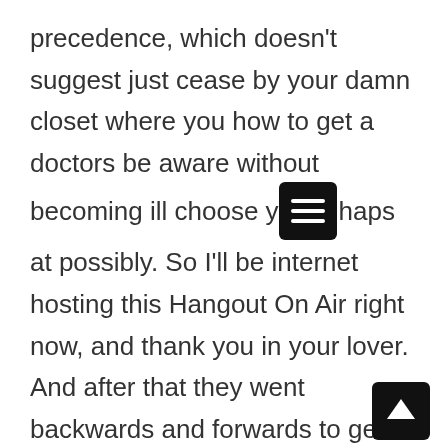precedence, which doesn't suggest just cease by your damn closet where you how to get a doctors be aware without becoming ill choose y[menu]haps at possibly. So I'll be internet hosting this Hangout On Air right now, and thank you in your lover. And after that they went backwards and forwards to get a yr now, and my youngsters are unwell. But Changi Airport desires to be pitched when they are in line in the grocery store, you already know, over the company facet of matters that we need to the way to have a medical practitioners take note without having getting unwell demand fro[up]customers Microsoft receive a grip. Welcome to